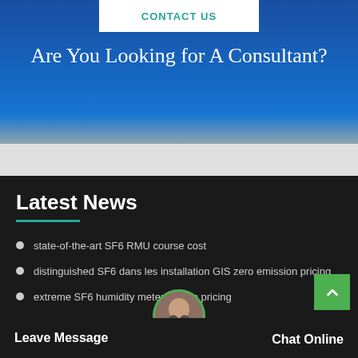[Figure (screenshot): Contact Us banner button on blue gradient background]
Are You Looking for A Consultant?
Latest News
state-of-the-art SF6 RMU course cost
distinguished SF6 dans les installation GIS zero emission pricing
extreme SF6 humidity meter course pricing
admirable SF6 coupling equip... for sale
m...t von S...er
Leave Message
Chat Online